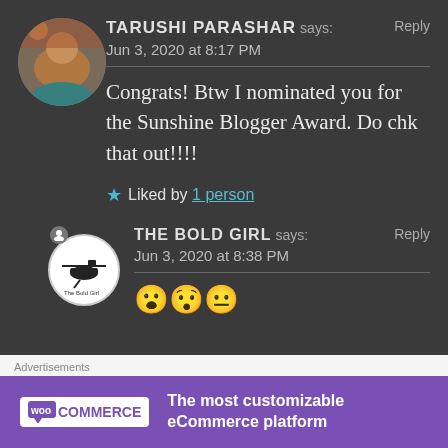[Figure (photo): Circular avatar photo of Tarushi Parashar]
TARUSHI PARASHAR says: Reply
Jun 3, 2020 at 8:17 PM
Congrats! Btw I nominated you for the Sunshine Blogger Award. Do chk that out!!!!
★ Liked by 1 person
[Figure (logo): The Bold Girl logo - circular white badge with helicopter silhouette]
THE BOLD GIRL says: Reply
Jun 3, 2020 at 8:38 PM
😮😯😐
Advertisements
[Figure (other): WooCommerce advertisement banner: The most customizable eCommerce platform]